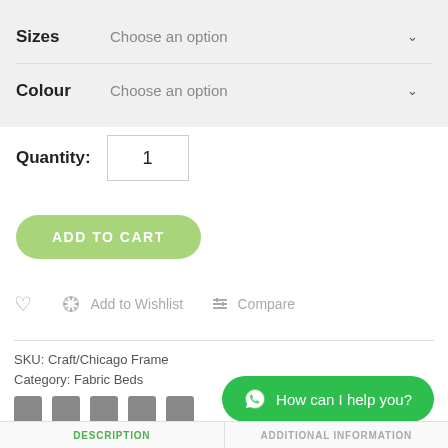Sizes   Choose an option
Colour   Choose an option
Quantity:  1
ADD TO CART
Add to Wishlist   Compare
SKU: Craft/Chicago Frame
Category: Fabric Beds
[Figure (other): Five gray social media share icons in a row]
How can I help you?
DESCRIPTION   ADDITIONAL INFORMATION